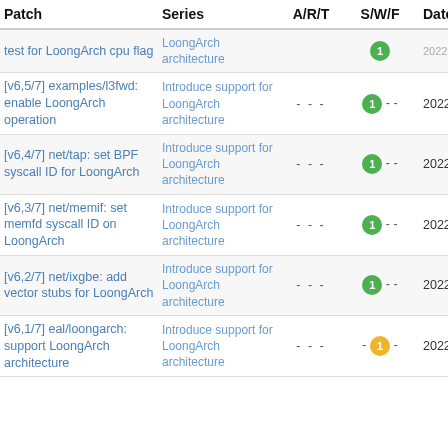| Patch | Series | A/R/T | S/W/F | Date |
| --- | --- | --- | --- | --- |
| test for LoongArch cpu flag | LoongArch architecture |  | 1 | 2022-08-27 |
| [v6,5/7] examples/l3fwd: enable LoongArch operation | Introduce support for LoongArch architecture | - - - | 1 - - | 2022-08-27 |
| [v6,4/7] net/tap: set BPF syscall ID for LoongArch | Introduce support for LoongArch architecture | - - - | 1 - - | 2022-08-27 |
| [v6,3/7] net/memif: set memfd syscall ID on LoongArch | Introduce support for LoongArch architecture | - - - | 1 - - | 2022-08-27 |
| [v6,2/7] net/ixgbe: add vector stubs for LoongArch | Introduce support for LoongArch architecture | - - - | 1 - - | 2022-08-27 |
| [v6,1/7] eal/loongarch: support LoongArch architecture | Introduce support for LoongArch architecture | - - - | - 1 - | 2022-08-27 |